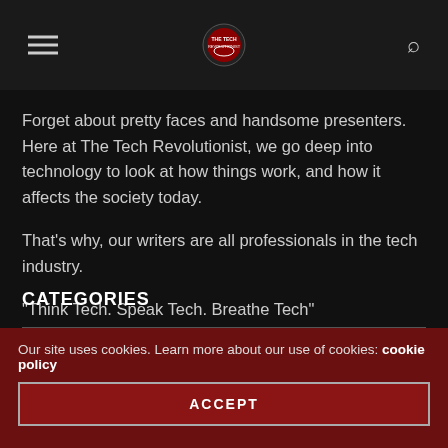The Tech Revolutionist
Forget about pretty faces and handsome presenters. Here at The Tech Revolutionist, we go deep into technology to look at how things work, and how it affects the society today.
That's why, our writers are all professionals in the tech industry.
"Think Tech. Speak Tech. Breathe Tech"
CATEGORIES
Our site uses cookies. Learn more about our use of cookies: cookie policy
ACCEPT